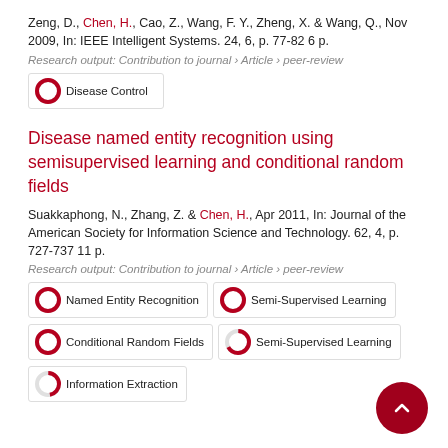Zeng, D., Chen, H., Cao, Z., Wang, F. Y., Zheng, X. & Wang, Q., Nov 2009, In: IEEE Intelligent Systems. 24, 6, p. 77-82 6 p.
Research output: Contribution to journal › Article › peer-review
Disease Control (100%)
Disease named entity recognition using semisupervised learning and conditional random fields
Suakkaphong, N., Zhang, Z. & Chen, H., Apr 2011, In: Journal of the American Society for Information Science and Technology. 62, 4, p. 727-737 11 p.
Research output: Contribution to journal › Article › peer-review
Named Entity Recognition (100%)
Semi-Supervised Learning (100%)
Conditional Random Fields (100%)
Semi-Supervised Learning (67%)
Information Extraction (47%)